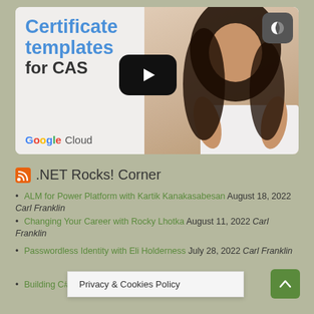[Figure (screenshot): YouTube-style video thumbnail showing 'Certificate templates for CAS' with Google Cloud branding and a woman presenter on the right side. A dark mode icon is in the top-right corner. A play button is centered on the thumbnail.]
.NET Rocks! Corner
ALM for Power Platform with Kartik Kanakasabesan August 18, 2022 Carl Franklin
Changing Your Career with Rocky Lhotka August 11, 2022 Carl Franklin
Passwordless Identity with Eli Holderness July 28, 2022 Carl Franklin
Building C# 11 with Kath... Carl Franklin
Privacy & Cookies Policy